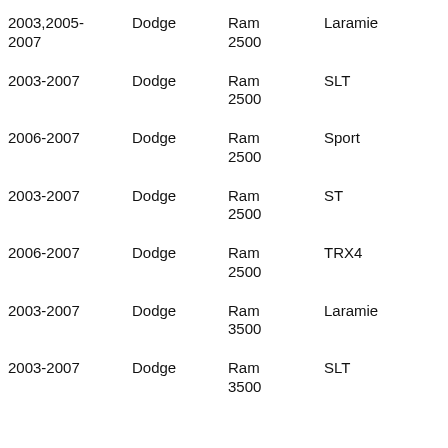| 2003,2005-2007 | Dodge | Ram 2500 | Laramie |
| 2003-2007 | Dodge | Ram 2500 | SLT |
| 2006-2007 | Dodge | Ram 2500 | Sport |
| 2003-2007 | Dodge | Ram 2500 | ST |
| 2006-2007 | Dodge | Ram 2500 | TRX4 |
| 2003-2007 | Dodge | Ram 3500 | Laramie |
| 2003-2007 | Dodge | Ram 3500 | SLT |